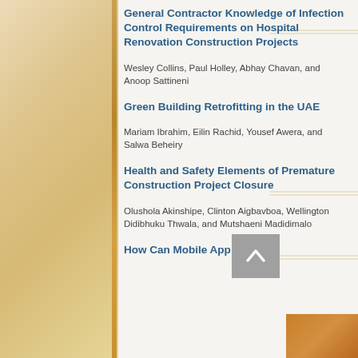General Contractor Knowledge of Infection Control Requirements on Hospital Renovation Construction Projects
Wesley Collins, Paul Holley, Abhay Chavan, and Anoop Sattineni
Green Building Retrofitting in the UAE
Mariam Ibrahim, Eilin Rachid, Yousef Awera, and Salwa Beheiry
Health and Safety Elements of Premature Construction Project Closure
Olushola Akinshipe, Clinton Aigbavboa, Wellington Didibhuku Thwala, and Mutshaeni Madidimalo
How Can Mobile App